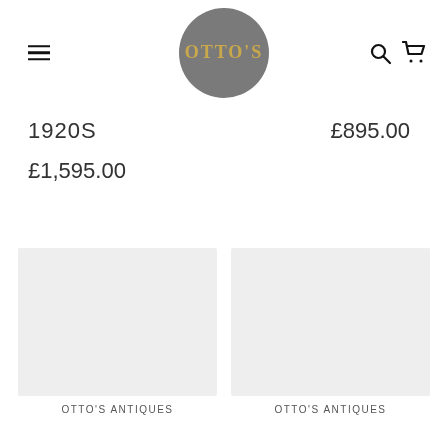OTTO'S
1920S
£1,595.00
£895.00
[Figure (photo): Product image placeholder left]
[Figure (photo): Product image placeholder right]
OTTO'S ANTIQUES
OTTO'S ANTIQUES